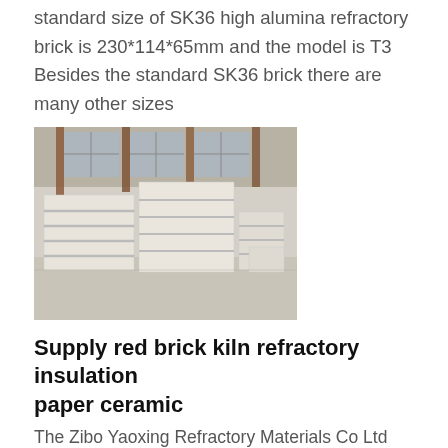standard size of SK36 high alumina refractory brick is 230*114*65mm and the model is T3 Besides the standard SK36 brick there are many other sizes
[Figure (photo): Interior warehouse or factory floor showing stacked white/light grey refractory bricks arranged in large block formations. Industrial building with large windows and wooden ceiling supports visible in background.]
Supply red brick kiln refractory insulation paper ceramic
The Zibo Yaoxing Refractory Materials Co Ltd We are professional Supply red brick kiln refractory insulation paper ceramic fiber paper supplier You can buy Supply red brick kiln refractory insulation paper ceramic fiber paper at wholesale price View Supply red brick kiln refractory insulation paper ceramic fiber paper detailsYaoxing R D and